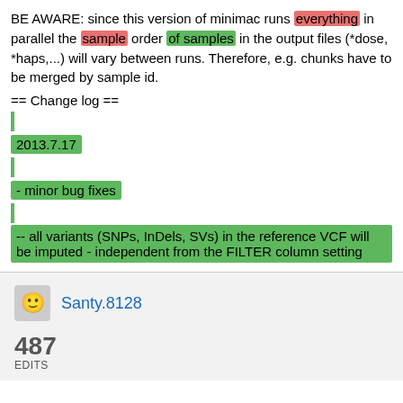BE AWARE: since this version of minimac runs everything in parallel the sample order of samples in the output files (*dose, *haps,...) will vary between runs. Therefore, e.g. chunks have to be merged by sample id.
== Change log ==
2013.7.17
- minor bug fixes
-- all variants (SNPs, InDels, SVs) in the reference VCF will be imputed - independent from the FILTER column setting
Santy.8128
487
EDITS